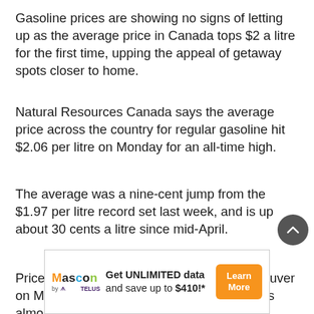Gasoline prices are showing no signs of letting up as the average price in Canada tops $2 a litre for the first time, upping the appeal of getaway spots closer to home.
Natural Resources Canada says the average price across the country for regular gasoline hit $2.06 per litre on Monday for an all-time high.
The average was a nine-cent jump from the $1.97 per litre record set last week, and is up about 30 cents a litre since mid-April.
Prices averaged about $2.34 a litre in Vancouver on Monday, while in Toronto the average was almost $2.09 per
[Figure (other): Advertisement banner for Mascon by TELUS: 'Get UNLIMITED data and save up to $410!*' with Learn More button]